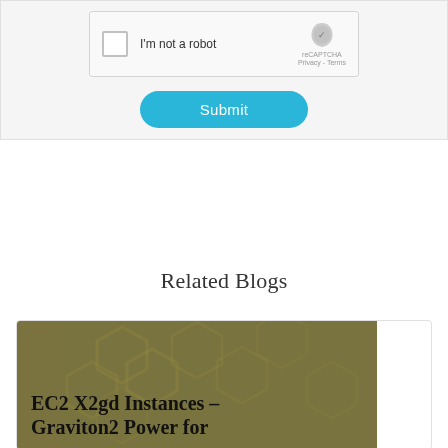[Figure (screenshot): reCAPTCHA widget with checkbox 'I'm not a robot' and reCAPTCHA logo with Privacy and Terms links]
[Figure (screenshot): Cyan/blue Submit button with rounded pill shape]
Related Blogs
[Figure (screenshot): Blog card thumbnail with olive/dark-yellow background featuring hexagon watermark shapes and bold text 'EC2 X2gd Instances – Graviton2 Power for']